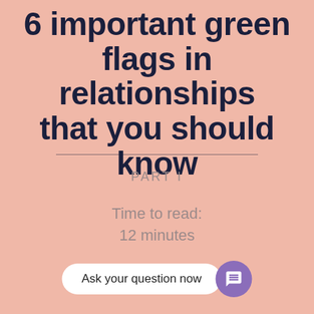6 important green flags in relationships that you should know
PART I
Time to read:
12 minutes
Ask your question now